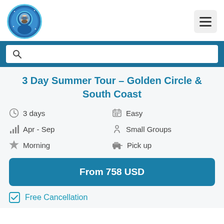[Figure (logo): Circular logo with astronaut/diver character in blue tones]
[Figure (other): Hamburger menu icon button]
[Figure (other): Search bar with magnifying glass icon on dark blue background]
3 Day Summer Tour – Golden Circle & South Coast
3 days
Easy
Apr - Sep
Small Groups
Morning
Pick up
From 758 USD
Free Cancellation